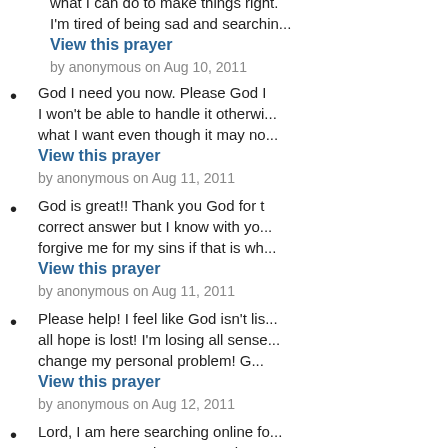what I can do to make things right. I'm tired of being sad and searching...
View this prayer
by anonymous on Aug 10, 2011
God I need you now. Please God I won't be able to handle it otherwise what I want even though it may no...
View this prayer
by anonymous on Aug 11, 2011
God is great!! Thank you God for the correct answer but I know with you forgive me for my sins if that is wh...
View this prayer
by anonymous on Aug 11, 2011
Please help! I feel like God isn't lis all hope is lost! I'm losing all sense change my personal problem! G...
View this prayer
by anonymous on Aug 12, 2011
Lord, I am here searching online for to my prayer. I ask you everyday c problem and into what I want so b...
View this prayer
by anonymous on Aug 13, 2011
What do I do? I can't fix this on my do I do? Keep praying even though everything possible with You, God...